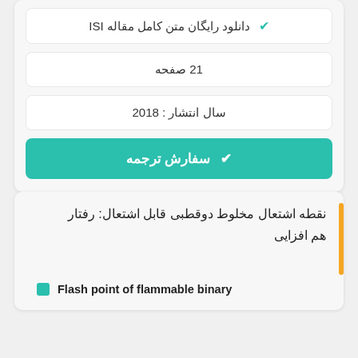✔ دانلود رایگان متن کامل مقاله ISI
21 صفحه
سال انتشار : 2018
✔ سفارش ترجمه
نقطه اشتعال مخلوط دوقطبی قابل اشتعال: رفتار هم افزایی
Flash point of flammable binary